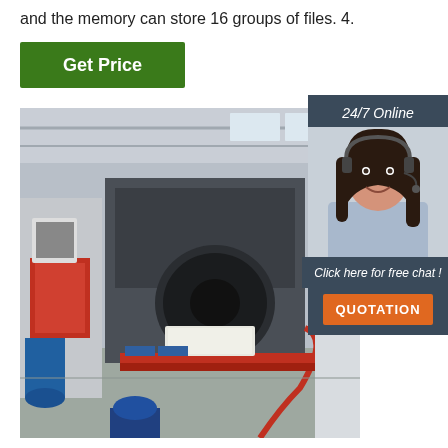and the memory can store 16 groups of files. 4.
Get Price
[Figure (photo): Factory floor showing industrial pipe extrusion or machining equipment, with large machinery, red and white pipes, a plastic bin on a conveyor, and a blue motor in the foreground.]
24/7 Online
[Figure (photo): Customer service representative, a smiling woman with dark hair wearing a headset and light blue shirt.]
Click here for free chat !
QUOTATION